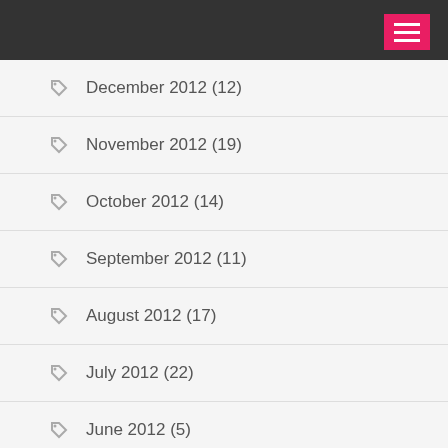December 2012 (12)
November 2012 (19)
October 2012 (14)
September 2012 (11)
August 2012 (17)
July 2012 (22)
June 2012 (5)
May 2012 (17)